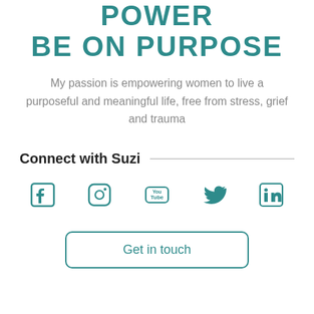POWER BE ON PURPOSE
My passion is empowering women to live a purposeful and meaningful life, free from stress, grief and trauma
Connect with Suzi
[Figure (infographic): Social media icons: Facebook, Instagram, YouTube, Twitter, LinkedIn — all in teal color]
Get in touch